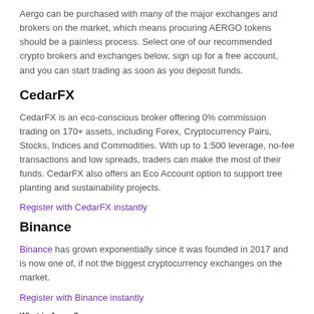Aergo can be purchased with many of the major exchanges and brokers on the market, which means procuring AERGO tokens should be a painless process. Select one of our recommended crypto brokers and exchanges below, sign up for a free account, and you can start trading as soon as you deposit funds.
CedarFX
CedarFX is an eco-conscious broker offering 0% commission trading on 170+ assets, including Forex, Cryptocurrency Pairs, Stocks, Indices and Commodities. With up to 1:500 leverage, no-fee transactions and low spreads, traders can make the most of their funds. CedarFX also offers an Eco Account option to support tree planting and sustainability projects.
Register with CedarFX instantly
Binance
Binance has grown exponentially since it was founded in 2017 and is now one of, if not the biggest cryptocurrency exchanges on the market.
Register with Binance instantly
What is Aergo?
Aergo is a Korean blockchain built from the ground up for enterprise use. Engineered by Blocko, a blockchain solutions firm backed by electronics giant Samsung, Aergo is designed to streamline multinational